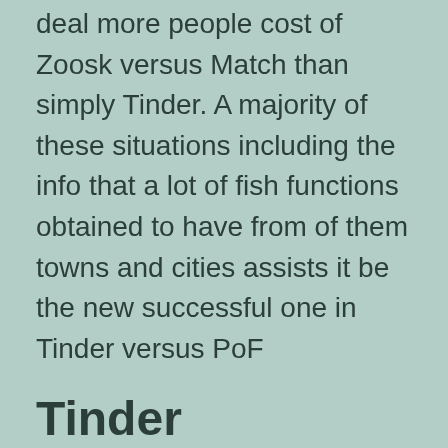deal more people cost of Zoosk versus Match than simply Tinder. A majority of these situations including the info that a lot of fish functions obtained to have from of them towns and cities assists it be the new successful one in Tinder versus PoF
Tinder compared to PoF: Expenses
Very little today costs almost nothing, the same thing goes for every, in which including in search of promising companion spending money. Should the dating internet site is very